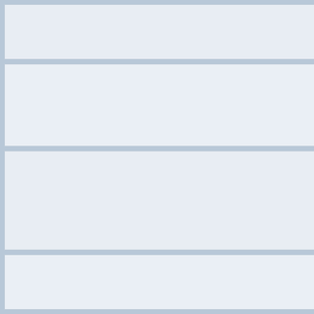[Figure (screenshot): Screenshot of a web interface showing a two-column layout. Left column contains three card panels with light blue/grey backgrounds. Right column shows content panels with a Views/Comments bar showing 'Views: 180  Comments: 0' and another bar showing 'Views: 151  Comments: 0'. Text snippets are partially visible on the right edge.]
Views: 180    Comments: 0
Views: 151    Comments: 0